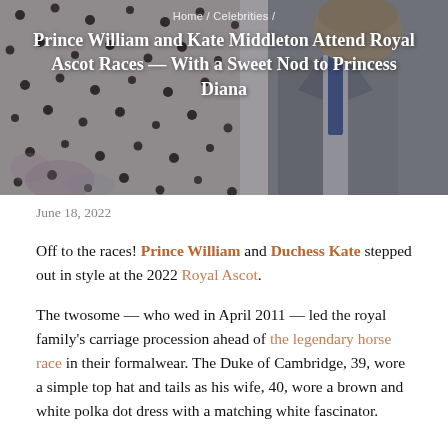[Figure (photo): Photo of Prince William and Kate Middleton at Royal Ascot. Kate is wearing a white polka dot dress. The image has overlaid text showing breadcrumb navigation and article title.]
June 18, 2022
Off to the races! Prince William and Duchess Kate stepped out in style at the 2022 Royal Ascot.
The twosome — who wed in April 2011 — led the royal family's carriage procession ahead of the legendary horse race in their formalwear. The Duke of Cambridge, 39, wore a simple top hat and tails as his wife, 40, wore a brown and white polka dot dress with a matching white fascinator.